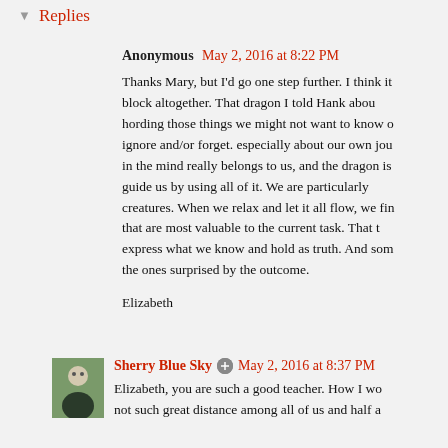Replies
Anonymous May 2, 2016 at 8:22 PM

Thanks Mary, but I'd go one step further. I think it block altogether. That dragon I told Hank about hording those things we might not want to know o ignore and/or forget. especially about our own jou in the mind really belongs to us, and the dragon is guide us by using all of it. We are particularly creatures. When we relax and let it all flow, we fi that are most valuable to the current task. That t express what we know and hold as truth. And som the ones surprised by the outcome.

Elizabeth
Sherry Blue Sky May 2, 2016 at 8:37 PM

Elizabeth, you are such a good teacher. How I wo not such great distance among all of us and half a